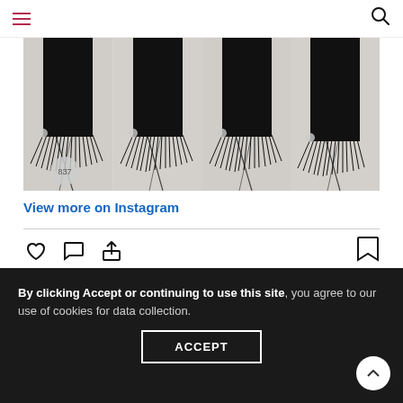Navigation bar with hamburger menu and search icon
[Figure (photo): Three repeated black and white photos of legs wearing fringe-trimmed boots walking on a cracked floor surface, arranged side by side in a grid]
View more on Instagram
[Figure (infographic): Social media interaction icons: heart (like), comment bubble, share/upload arrow on left; bookmark icon on right]
590 likes
nadira037
Blog post with all the deets and links for this look is up! Click the link in my bio? 🖤♥ #nadira037 #ihadnojeansunderneath #msf
By clicking Accept or continuing to use this site, you agree to our use of cookies for data collection.
ACCEPT